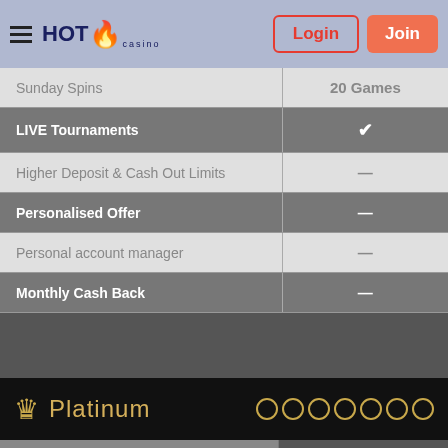HOT Casino — Login | Join
| Feature | Value |
| --- | --- |
| Sunday Spins | 20 Games |
| LIVE Tournaments | ✔ |
| Higher Deposit & Cash Out Limits | — |
| Personalised Offer | — |
| Personal account manager | — |
| Monthly Cash Back | — |
Platinum
|  | DAY 1
$50 Bonus
DAY 2
... |
| --- | --- |